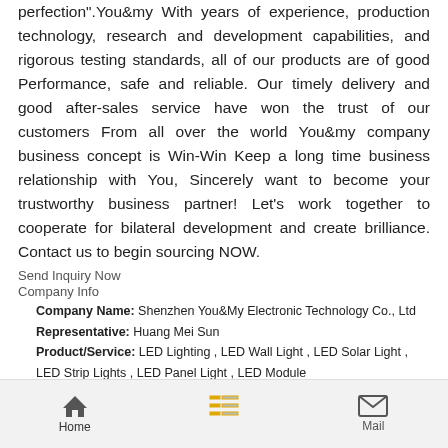perfection".You&my With years of experience, production technology, research and development capabilities, and rigorous testing standards, all of our products are of good Performance, safe and reliable. Our timely delivery and good after-sales service have won the trust of our customers From all over the world You&my company business concept is Win-Win Keep a long time business relationship with You, Sincerely want to become your trustworthy business partner! Let's work together to cooperate for bilateral development and create brilliance. Contact us to begin sourcing NOW.
Send Inquiry Now
Company Info
Company Name: Shenzhen You&My Electronic Technology Co., Ltd
Representative: Huang Mei Sun
Product/Service: LED Lighting , LED Wall Light , LED Solar Light , LED Strip Lights , LED Panel Light , LED Module
Capital (Million US $): 500000RMB
Year Established: 2009
Total Annual Sales Volume (Million US $): US$5 Million - US$10 Million
Export Percentage: 91% - 100%
Home  Mail